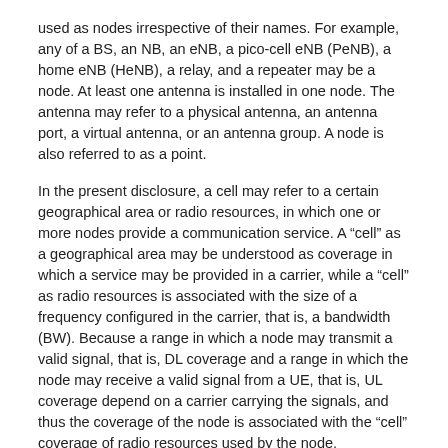used as nodes irrespective of their names. For example, any of a BS, an NB, an eNB, a pico-cell eNB (PeNB), a home eNB (HeNB), a relay, and a repeater may be a node. At least one antenna is installed in one node. The antenna may refer to a physical antenna, an antenna port, a virtual antenna, or an antenna group. A node is also referred to as a point.
In the present disclosure, a cell may refer to a certain geographical area or radio resources, in which one or more nodes provide a communication service. A “cell” as a geographical area may be understood as coverage in which a service may be provided in a carrier, while a “cell” as radio resources is associated with the size of a frequency configured in the carrier, that is, a bandwidth (BW). Because a range in which a node may transmit a valid signal, that is, DL coverage and a range in which the node may receive a valid signal from a UE, that is, UL coverage depend on a carrier carrying the signals, and thus the coverage of the node is associated with the “cell” coverage of radio resources used by the node. Accordingly, the term “cell” may mean the service overage of a node, radio resources, or a range in which a signal reaches with